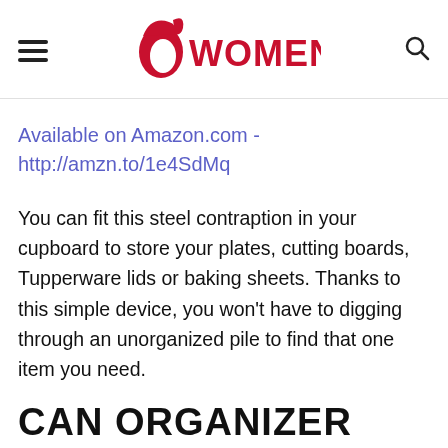Womenio
Available on Amazon.com - http://amzn.to/1e4SdMq
You can fit this steel contraption in your cupboard to store your plates, cutting boards, Tupperware lids or baking sheets. Thanks to this simple device, you won't have to digging through an unorganized pile to find that one item you need.
CAN ORGANIZER